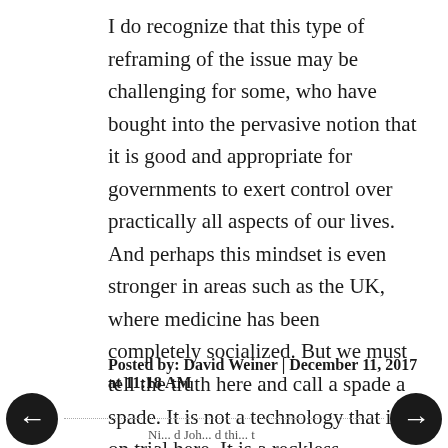I do recognize that this type of reframing of the issue may be challenging for some, who have bought into the pervasive notion that it is good and appropriate for governments to exert control over practically all aspects of our lives. And perhaps this mindset is even stronger in areas such as the UK, where medicine has been completely socialized. But we must tell the truth here and call a spade a spade. It is not a technology that is on trial here. It is a reckless, runaway, dishonest, and corrupt government program that is to blame.
Posted by: David Weiner | December 11, 2017 at 11:18 AM
[Figure (other): Navigation arrows: left arrow (back) on the left, right arrow (forward) on the right, both in black circles, with a dotted horizontal line between them]
Ni... d Joh... d thi... t